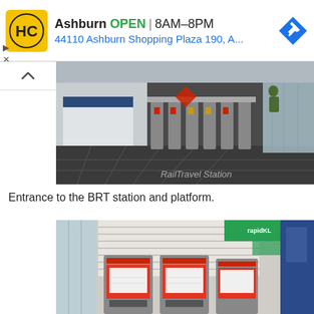[Figure (screenshot): Advertisement banner: HC logo (yellow background with HC letters), Ashburn OPEN 8AM-8PM, 44110 Ashburn Shopping Plaza 190, A..., with navigation arrow icon]
[Figure (photo): Interior of a BRT (Bus Rapid Transit) station showing fare gates/turnstiles, a reception desk on the left, glass walls, and a person in the background. Watermark reads 'RailTravel Station'.]
Entrance to the BRT station and platform.
[Figure (photo): Interior of a BRT station showing ticket vending machines with red touchscreen interfaces, signage overhead with green and white colors, a blue door on the right, and a window/glass area on the left.]